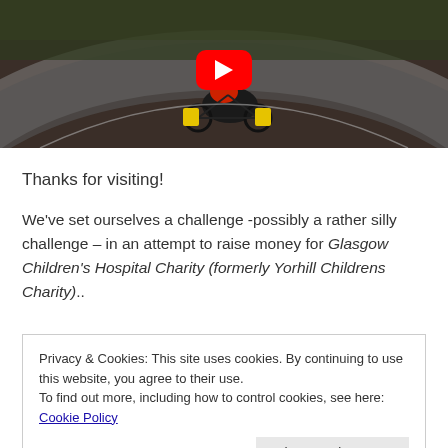[Figure (screenshot): YouTube video thumbnail showing a cyclist from above on a curved road, with a red YouTube play button overlay. The cyclist is wearing red and has yellow panniers on the bike.]
Thanks for visiting!
We've set ourselves a challenge -possibly a rather silly challenge – in an attempt to raise money for Glasgow Children's Hospital Charity (formerly Yorhill Childrens Charity)..
Privacy & Cookies: This site uses cookies. By continuing to use this website, you agree to their use.
To find out more, including how to control cookies, see here: Cookie Policy
Close and accept
will DO and no doubt there will be daily does of blood,